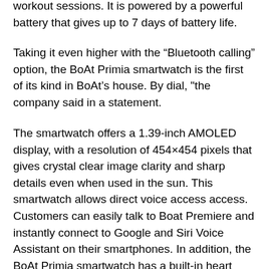workout sessions. It is powered by a powerful battery that gives up to 7 days of battery life.
Taking it even higher with the “Bluetooth calling” option, the BoAt Primia smartwatch is the first of its kind in BoAt’s house. By dial, "the company said in a statement.
The smartwatch offers a 1.39-inch AMOLED display, with a resolution of 454×454 pixels that gives crystal clear image clarity and sharp details even when used in the sun. This smartwatch allows direct voice access access.
Customers can easily talk to Boat Premiere and instantly connect to Google and Siri Voice Assistant on their smartphones. In addition, the BoAt Primia smartwatch has a built-in heart rate, SPO2 and stress level tracker that helps users track their physical health such as number of steps, calorie burn record and travel distance.